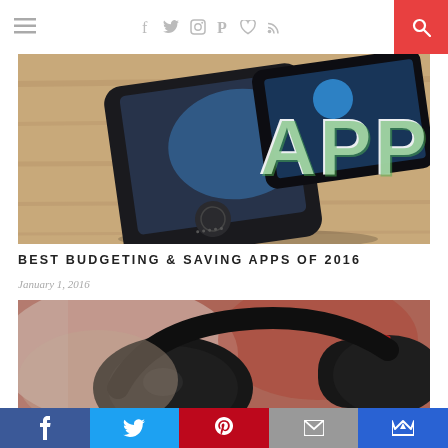Navigation bar with hamburger menu, social icons (f, twitter, instagram, pinterest, heart, RSS), and red search button
[Figure (photo): Close-up photo of a dark iPhone lying on a wooden surface next to another phone, with 'APPS' text overlay in large white and green letters]
BEST BUDGETING & SAVING APPS OF 2016
January 1, 2016
[Figure (photo): Blurred close-up photo of black and red headphones on a person's head, warm reddish background]
Social sharing bar: Facebook, Twitter, Pinterest, Email, Crown/Bloglovin